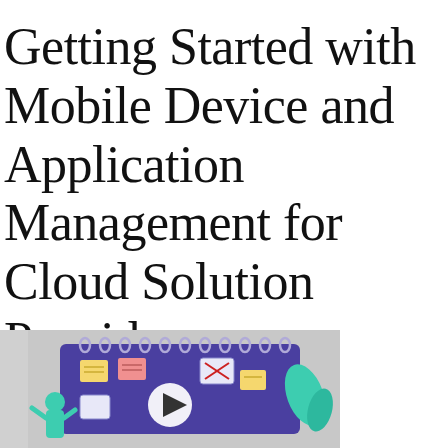Getting Started with Mobile Device and Application Management for Cloud Solution Providers
[Figure (illustration): Illustration showing a cartoon-style calendar/notebook with sticky notes and checkboxes on a purple background, with a person figure and teal leaf decorations. A play button (triangle) is overlaid in the center, indicating this is a video thumbnail.]